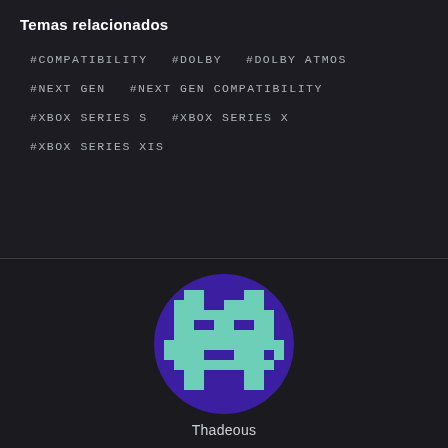Temas relacionados
#COMPATIBILITY
#DOLBY
#DOLBY ATMOS
#NEXT GEN
#NEXT GEN COMPATIBILITY
#XBOX SERIES S
#XBOX SERIES X
#XBOX SERIES XIS
[Figure (logo): Circular purple avatar logo with a pixelated teal/mint colored robot or character icon in the center]
Thadeous